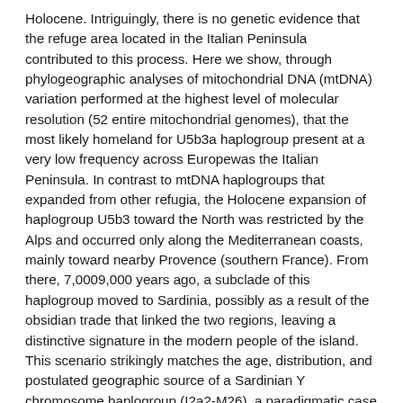Holocene. Intriguingly, there is no genetic evidence that the refuge area located in the Italian Peninsula contributed to this process. Here we show, through phylogeographic analyses of mitochondrial DNA (mtDNA) variation performed at the highest level of molecular resolution (52 entire mitochondrial genomes), that the most likely homeland for U5b3a haplogroup present at a very low frequency across Europewas the Italian Peninsula. In contrast to mtDNA haplogroups that expanded from other refugia, the Holocene expansion of haplogroup U5b3 toward the North was restricted by the Alps and occurred only along the Mediterranean coasts, mainly toward nearby Provence (southern France). From there, 7,0009,000 years ago, a subclade of this haplogroup moved to Sardinia, possibly as a result of the obsidian trade that linked the two regions, leaving a distinctive signature in the modern people of the island. This scenario strikingly matches the age, distribution, and postulated geographic source of a Sardinian Y chromosome haplogroup (I2a2-M26), a paradigmatic case in the European context of a founder event marking both female and male lineages.